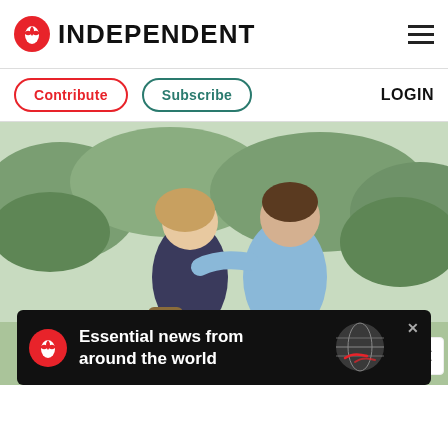INDEPENDENT
Contribute  Subscribe  LOGIN
[Figure (photo): A couple walking together outdoors, woman in dark dress with bag, man in light blue shirt with arm around her, green foliage in background]
Essential news from around the world